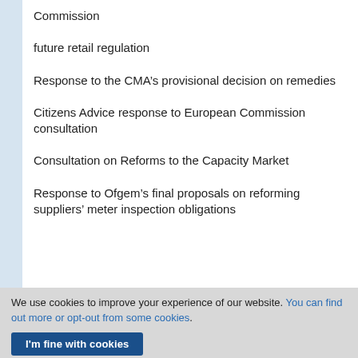Commission
future retail regulation
Response to the CMA’s provisional decision on remedies
Citizens Advice response to European Commission consultation
Consultation on Reforms to the Capacity Market
Response to Ofgem’s final proposals on reforming suppliers’ meter inspection obligations
We use cookies to improve your experience of our website. You can find out more or opt-out from some cookies.